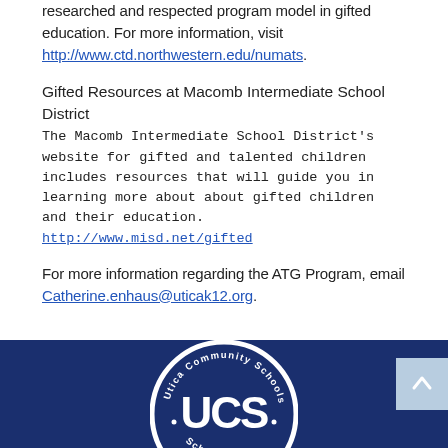researched and respected program model in gifted education. For more information, visit http://www.ctd.northwestern.edu/numats.
Gifted Resources at Macomb Intermediate School District
The Macomb Intermediate School District's website for gifted and talented children includes resources that will guide you in learning more about about gifted children and their education. http://www.misd.net/gifted
For more information regarding the ATG Program, email Catherine.enhaus@uticak12.org.
[Figure (logo): Utica Community Schools circular logo with UCS letters, white on dark blue background]